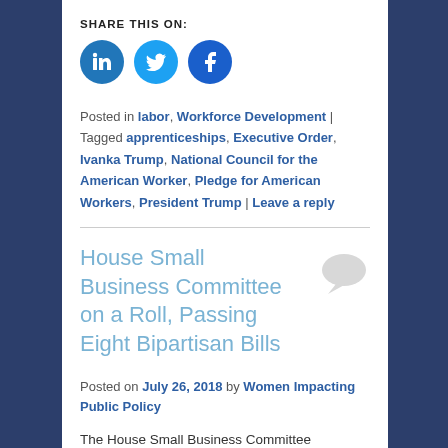SHARE THIS ON:
[Figure (illustration): Three circular social media share buttons: LinkedIn (dark blue), Twitter (light blue), Facebook (dark blue)]
Posted in labor, Workforce Development | Tagged apprenticeships, Executive Order, Ivanka Trump, National Council for the American Worker, Pledge for American Workers, President Trump | Leave a reply
House Small Business Committee on a Roll, Passing Eight Bipartisan Bills
Posted on July 26, 2018 by Women Impacting Public Policy
The House Small Business Committee continued its